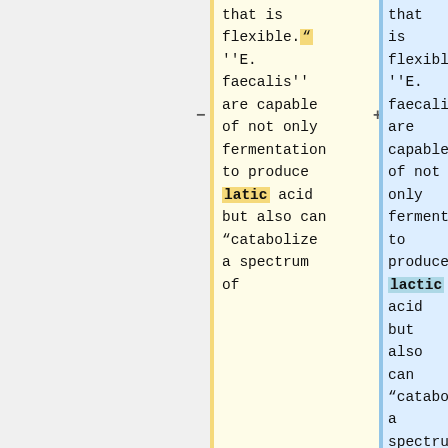that is flexible." ''E. faecalis'' are capable of not only fermentation to produce latic acid but also can “catabolize a spectrum of
that is flexible. ''E. faecalis'' are capable of not only fermentation to produce lactic acid but also can “catabolize a spectrum of energy sources from carbohydrates, glycerol, lactate, malate, citrate, diamino acids and